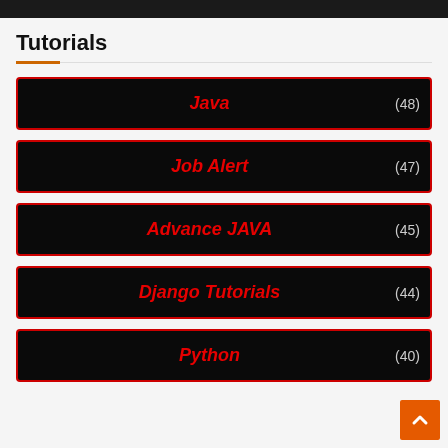Tutorials
Java (48)
Job Alert (47)
Advance JAVA (45)
Django Tutorials (44)
Python (40)